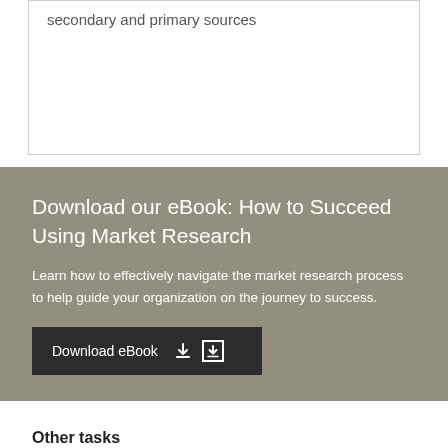secondary and primary sources
Download our eBook: How to Succeed Using Market Research
Learn how to effectively navigate the market research process to help guide your organization on the journey to success.
Download eBook
Other tasks